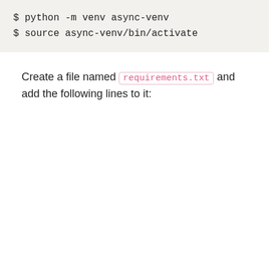$ python -m venv async-venv
$ source async-venv/bin/activate
Create a file named requirements.txt and add the following lines to it: